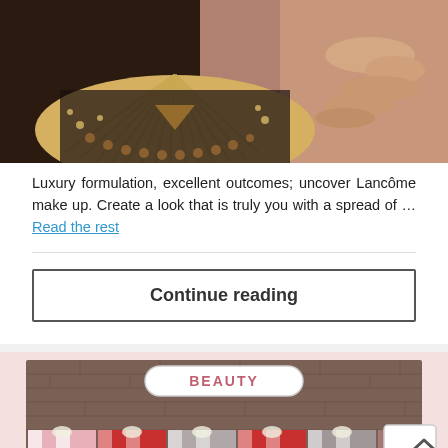[Figure (photo): Close-up photo of a person wearing an elaborate gold and dark jeweled statement necklace, with their hand touching it near their chin.]
Luxury formulation, excellent outcomes; uncover Lancôme make up. Create a look that is truly you with a spread of … Read the rest
Continue reading
[Figure (illustration): Illustrated storefront with a dark brick facade, a 'BEAUTY' sign in a white rounded rectangle, and a row of striped awnings in pink, red, white, and grey colors below.]